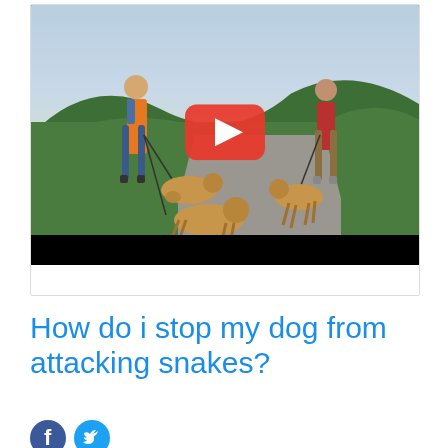[Figure (screenshot): Video thumbnail showing two men with dogs on a path in a green outdoor field. A YouTube play button overlay is visible in the center. The bottom of the thumbnail has a black bar.]
How do i stop my dog from attacking snakes?
[Figure (illustration): Facebook and Twitter social share icons]